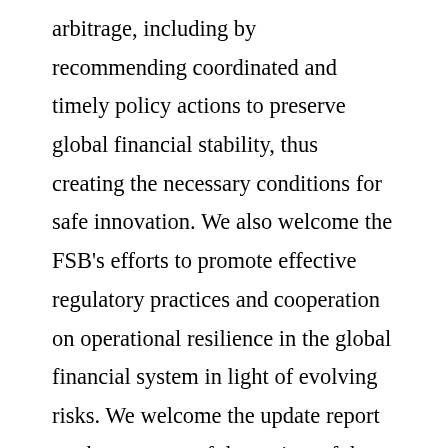arbitrage, including by recommending coordinated and timely policy actions to preserve global financial stability, thus creating the necessary conditions for safe innovation. We also welcome the FSB's efforts to promote effective regulatory practices and cooperation on operational resilience in the global financial system in light of evolving risks. We welcome the update report on the progress of the review of the G20/OECD Principles of Corporate Governance.